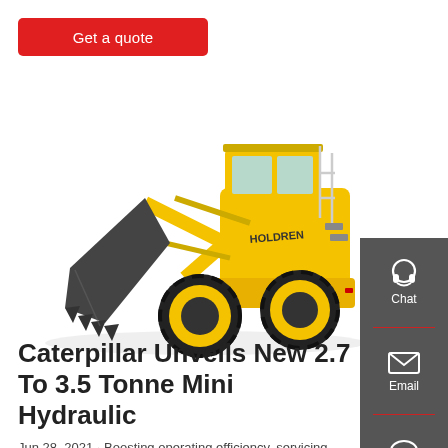Get a quote
[Figure (photo): Yellow wheel loader / front-end loader with large black bucket, black tires with yellow rims, operator cab, on white background]
[Figure (infographic): Dark grey sidebar panel with three contact options: Chat (headset icon), Email (envelope icon), Contact (speech bubble icon), separated by red dividers]
Caterpillar Unveils New 2.7 To 3.5 Tonne Mini Hydraulic
Jun 28, 2021 · Boosting operating efficiency, servicing ease